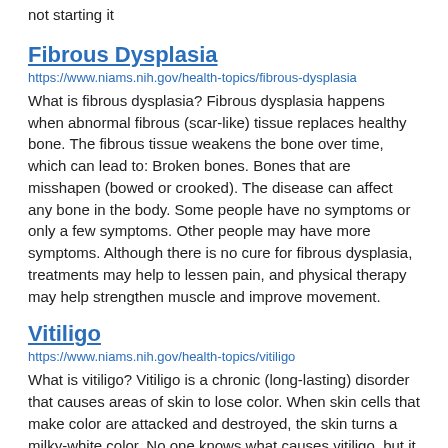not starting it
Fibrous Dysplasia
https://www.niams.nih.gov/health-topics/fibrous-dysplasia
What is fibrous dysplasia? Fibrous dysplasia happens when abnormal fibrous (scar-like) tissue replaces healthy bone. The fibrous tissue weakens the bone over time, which can lead to: Broken bones. Bones that are misshapen (bowed or crooked). The disease can affect any bone in the body. Some people have no symptoms or only a few symptoms. Other people may have more symptoms. Although there is no cure for fibrous dysplasia, treatments may help to lessen pain, and physical therapy may help strengthen muscle and improve movement.
Vitiligo
https://www.niams.nih.gov/health-topics/vitiligo
What is vitiligo? Vitiligo is a chronic (long-lasting) disorder that causes areas of skin to lose color. When skin cells that make color are attacked and destroyed, the skin turns a milky-white color. No one knows what causes vitiligo, but it may be an autoimmune disease. In people with autoimmune diseases, the immune cells attack the body's own healthy tissues by mistake, instead of viruses or bacteria. A person with vitiligo sometimes may have family members